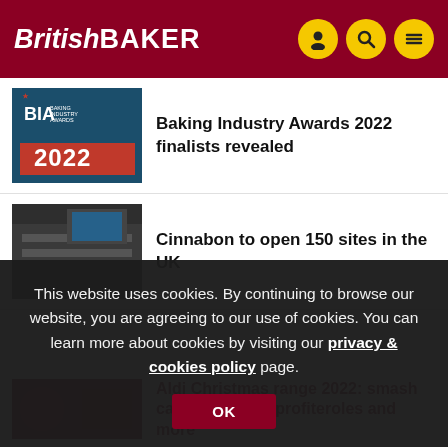British Baker
[Figure (screenshot): BIA Baking Industry Awards 2022 logo on dark blue background]
Baking Industry Awards 2022 finalists revealed
[Figure (photo): Cinnabon store interior with shelves]
Cinnabon to open 150 sites in the UK
This website uses cookies. By continuing to browse our website, you are agreeing to our use of cookies. You can learn more about cookies by visiting our privacy & cookies policy page.
[Figure (photo): Aldi Christmas range food items]
Aldi Christmas range 2022: smash cakes, savoury profiteroles and more